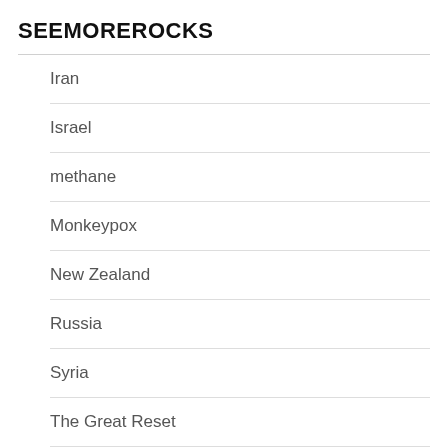SEEMOREROCKS
Iran
Israel
methane
Monkeypox
New Zealand
Russia
Syria
The Great Reset
Ukraine
Uncategorized